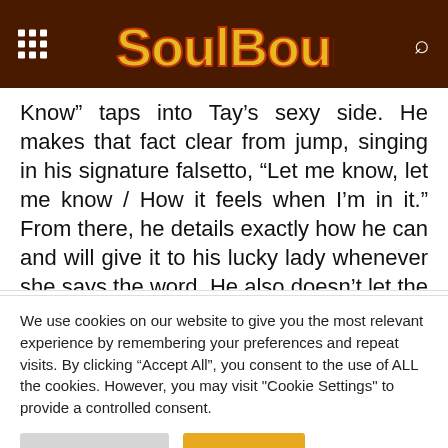[Figure (logo): SoulBounce website header with logo, grid menu icon, and search icon on dark brown background]
Know” taps into Tay’s sexy side. He makes that fact clear from jump, singing in his signature falsetto, “Let me know, let me know / How it feels when I’m in it.” From there, he details exactly how he can and will give it to his lucky lady whenever she says the word. He also doesn’t let the production complicate the song’s message. Sparse synth notes provide
We use cookies on our website to give you the most relevant experience by remembering your preferences and repeat visits. By clicking “Accept All”, you consent to the use of ALL the cookies. However, you may visit "Cookie Settings" to provide a controlled consent.